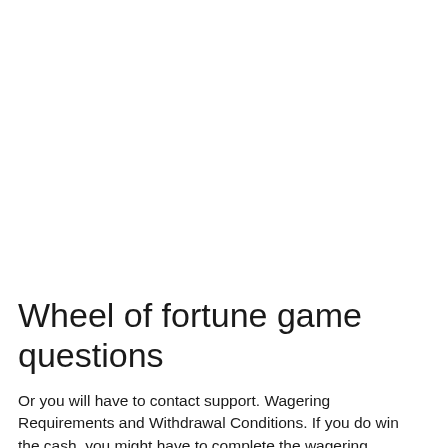Wheel of fortune game questions
Or you will have to contact support. Wagering Requirements and Withdrawal Conditions. If you do win the cash, you might have to complete the wagering requirements